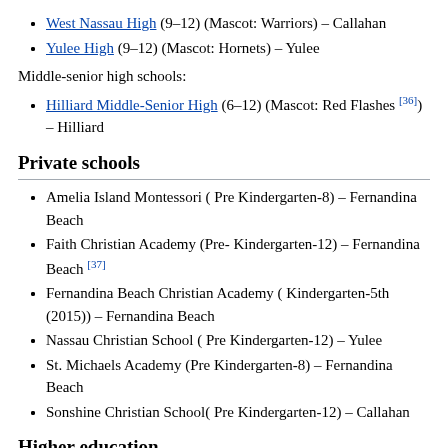West Nassau High (9–12) (Mascot: Warriors) – Callahan
Yulee High (9–12) (Mascot: Hornets) – Yulee
Middle-senior high schools:
Hilliard Middle-Senior High (6–12) (Mascot: Red Flashes [36]) – Hilliard
Private schools
Amelia Island Montessori ( Pre Kindergarten-8) – Fernandina Beach
Faith Christian Academy (Pre- Kindergarten-12) – Fernandina Beach [37]
Fernandina Beach Christian Academy ( Kindergarten-5th (2015)) – Fernandina Beach
Nassau Christian School ( Pre Kindergarten-12) – Yulee
St. Michaels Academy (Pre Kindergarten-8) – Fernandina Beach
Sonshine Christian School( Pre Kindergarten-12) – Callahan
Higher education
Florida State College at Jacksonville, a state college in the Florida